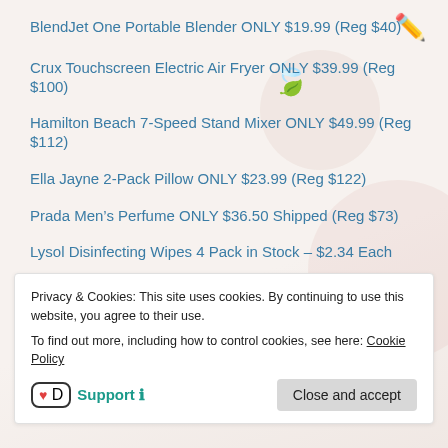BlendJet One Portable Blender ONLY $19.99 (Reg $40)
Crux Touchscreen Electric Air Fryer ONLY $39.99 (Reg $100)
Hamilton Beach 7-Speed Stand Mixer ONLY $49.99 (Reg $112)
Ella Jayne 2-Pack Pillow ONLY $23.99 (Reg $122)
Prada Men's Perfume ONLY $36.50 Shipped (Reg $73)
Lysol Disinfecting Wipes 4 Pack in Stock – $2.34 Each
Mini Brands Mystery Capsule 3ct ONLY $9.97 (reg. $35)
Michael Kors Men's Wallet ONLY $22 (Reg $80)
Privacy & Cookies: This site uses cookies. By continuing to use this website, you agree to their use.
To find out more, including how to control cookies, see here: Cookie Policy
Support 🛈
Close and accept